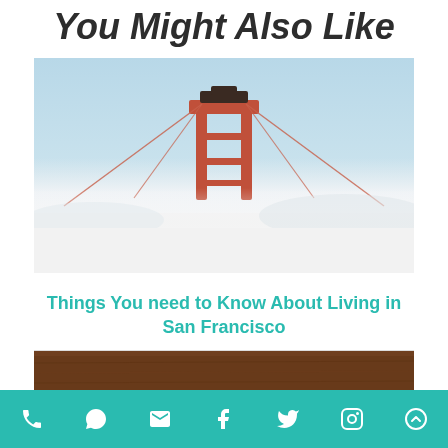You Might Also Like
[Figure (photo): Photo of the top of the Golden Gate Bridge tower emerging from thick fog, with a pale blue sky above]
Things You need to Know About Living in San Francisco
[Figure (photo): Partial view of a second article image showing a wooden surface]
Phone, Chat, Email, Facebook, Twitter, Instagram, Scroll-to-top icons